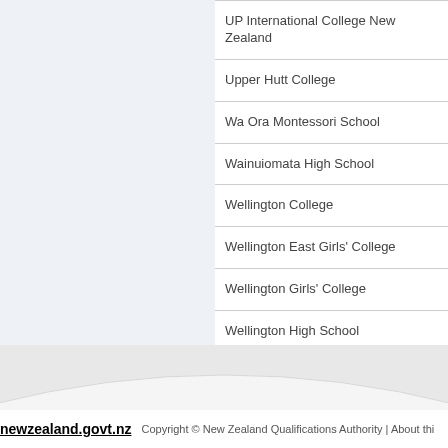UP International College New Zealand
Upper Hutt College
Wa Ora Montessori School
Wainuiomata High School
Wellington College
Wellington East Girls' College
Wellington Girls' College
Wellington High School
Whitby Collegiate
newzealand.govt.nz   Copyright © New Zealand Qualifications Authority | About thi